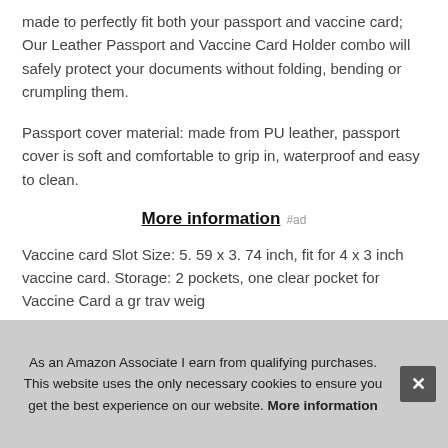made to perfectly fit both your passport and vaccine card; Our Leather Passport and Vaccine Card Holder combo will safely protect your documents without folding, bending or crumpling them.
Passport cover material: made from PU leather, passport cover is soft and comfortable to grip in, waterproof and easy to clean.
More information #ad
Vaccine card Slot Size: 5. 59 x 3. 74 inch, fit for 4 x 3 inch vaccine card. Storage: 2 pockets, one clear pocket for Vaccine Card...a gr...trav...weig...
As an Amazon Associate I earn from qualifying purchases. This website uses the only necessary cookies to ensure you get the best experience on our website. More information